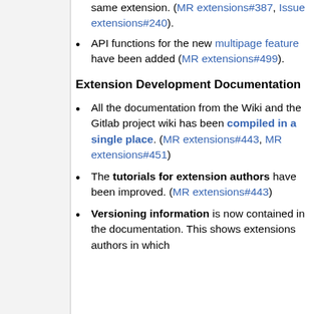same extension. (MR extensions#387, Issue extensions#240).
API functions for the new multipage feature have been added (MR extensions#499).
Extension Development Documentation
All the documentation from the Wiki and the Gitlab project wiki has been compiled in a single place. (MR extensions#443, MR extensions#451)
The tutorials for extension authors have been improved. (MR extensions#443)
Versioning information is now contained in the documentation. This shows extensions authors in which